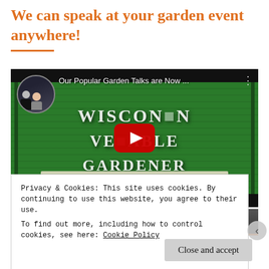We can speak at your garden event anywhere!
[Figure (screenshot): YouTube video thumbnail showing two people in a circular avatar and a green Wisconsin Vegetable Gardener sign with title 'Our Popular Garden Talks are Now ...' and a YouTube play button overlay]
[Figure (screenshot): Partially visible second video thumbnail with dark background]
Privacy & Cookies: This site uses cookies. By continuing to use this website, you agree to their use.
To find out more, including how to control cookies, see here: Cookie Policy
Close and accept